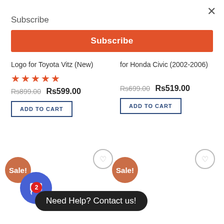×
Subscribe
Subscribe
Logo for Toyota Vitz (New)
★★★★★
Rs899.00  Rs599.00
ADD TO CART
for Honda Civic (2002-2006)
Rs699.00  Rs519.00
ADD TO CART
Sale!
Sale!
Need Help? Contact us!